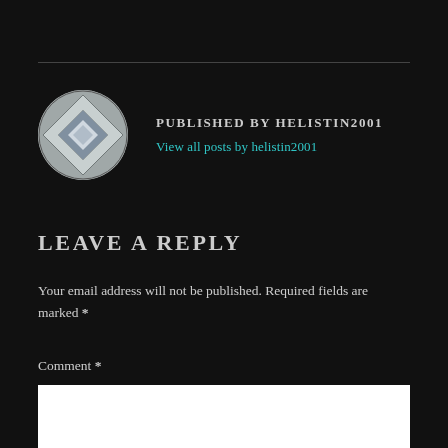PUBLISHED BY HELISTIN2001
View all posts by helistin2001
LEAVE A REPLY
Your email address will not be published. Required fields are marked *
Comment *